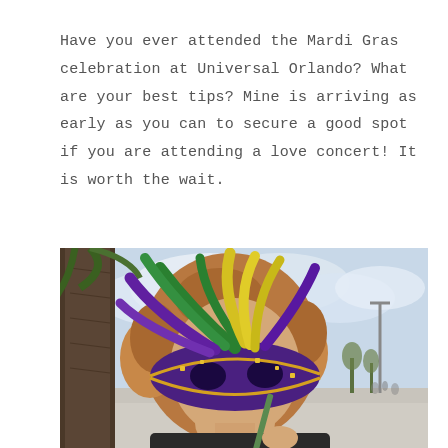Have you ever attended the Mardi Gras celebration at Universal Orlando? What are your best tips? Mine is arriving as early as you can to secure a good spot if you are attending a love concert! It is worth the wait.
[Figure (photo): A woman holding a purple, green, and yellow feathered Mardi Gras masquerade mask in front of her face, smiling. She is outdoors at what appears to be Universal Orlando. Background shows palm trees, a light pole, and a cloudy sky.]